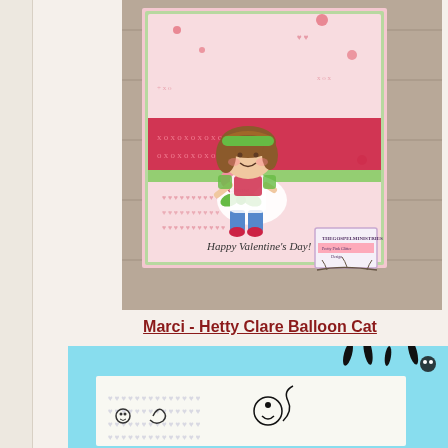[Figure (photo): A handmade Valentine's Day card featuring a cartoon girl with brown hair and green headband holding a pink heart box of chocolates with a green bow. The card has pink patterned paper with strawberry motifs and a red band. Text reads 'Happy Valentine's Day!' A watermark/logo is in the lower right corner.]
Marci - Hetty Clare Balloon Cat
[Figure (photo): A partial view of a craft/stamp sheet on a light blue background showing a Balloon Cat stamp design with black and white elements including cat faces and balloon shapes.]